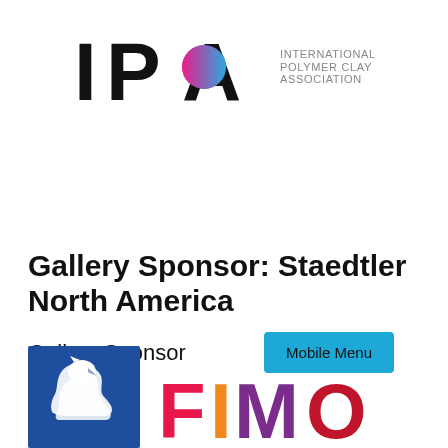[Figure (logo): IPCA International Polymer Clay Association logo with stylized letters IP and a circular element, with text INTERNATIONAL POLYMER CLAY ASSOCIATION]
[Figure (other): Mobile Menu button in teal/cyan color]
Gallery Sponsor: Staedtler North America
Gallery Sponsor
[Figure (logo): Staedtler logo (blue square with white knight chess piece) and FIMO logo in colorful letters (pink, orange, purple, red)]